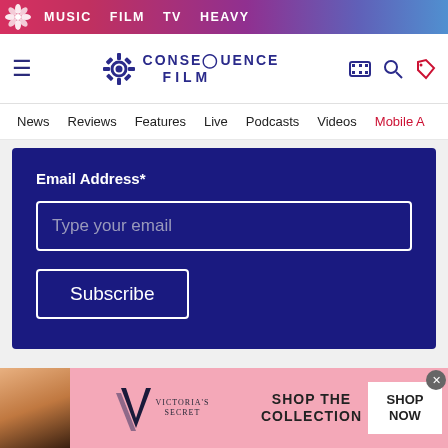MUSIC  FILM  TV  HEAVY
[Figure (logo): Consequence Film logo with gear icon, hamburger menu, search and tag icons]
News  Reviews  Features  Live  Podcasts  Videos  Mobile A
Email Address*
Type your email
Subscribe
Leave a comment
[Figure (photo): Victoria's Secret advertisement banner: woman with curly hair, VS logo, SHOP THE COLLECTION, SHOP NOW button]